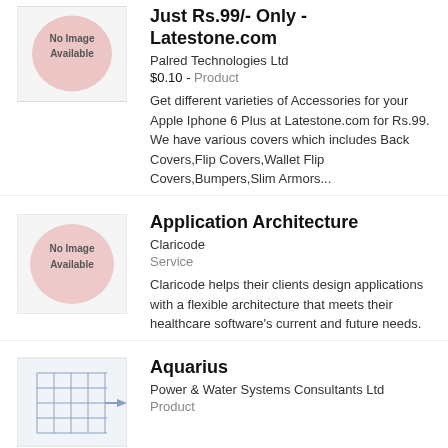[Figure (illustration): No Image Available placeholder thumbnail with pink circle]
Just Rs.99/- Only - Latestone.com
Palred Technologies Ltd
$0.10 - Product
Get different varieties of Accessories for your Apple Iphone 6 Plus at Latestone.com for Rs.99. We have various covers which includes Back Covers,Flip Covers,Wallet Flip Covers,Bumpers,Slim Armors...
[Figure (illustration): No Image Available placeholder thumbnail with pink circle]
Application Architecture
Claricode
Service
Claricode helps their clients design applications with a flexible architecture that meets their healthcare software's current and future needs.
[Figure (illustration): Aquarius product thumbnail with grid/chart icon in blue]
Aquarius
Power & Water Systems Consultants Ltd
Product